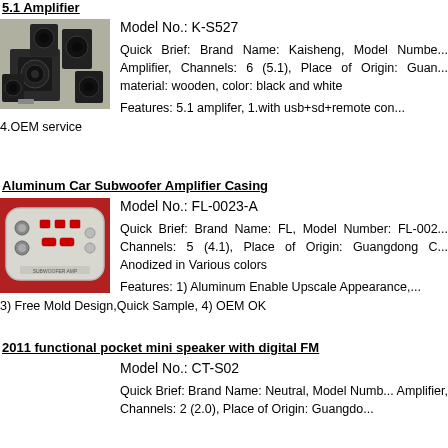5.1 Amplifier
[Figure (photo): Photo of a black 5.1 speaker set with subwoofer and satellite speakers]
Model No.: K-S527
Quick Brief: Brand Name: Kaisheng, Model Number: K-S527, Type: Amplifier, Channels: 6 (5.1), Place of Origin: Guangdong China, material: wooden, color: black and white
Features: 5.1 amplifer, 1.with usb+sd+remote con... 4.OEM service
Aluminum Car Subwoofer Amplifier Casing
[Figure (photo): Photo of an aluminum car subwoofer amplifier casing panel with knobs and connectors on red background]
Model No.: FL-0023-A
Quick Brief: Brand Name: FL, Model Number: FL-0023-A, Channels: 5 (4.1), Place of Origin: Guangdong China, Anodized in Various colors
Features: 1) Aluminum Enable Upscale Appearance, 3) Free Mold Design,Quick Sample, 4) OEM OK
2011 functional pocket mini speaker with digital FM
Model No.: CT-S02
Quick Brief: Brand Name: Neutral, Model Number: CT-S02, Type: Amplifier, Channels: 2 (2.0), Place of Origin: Guangdong China...